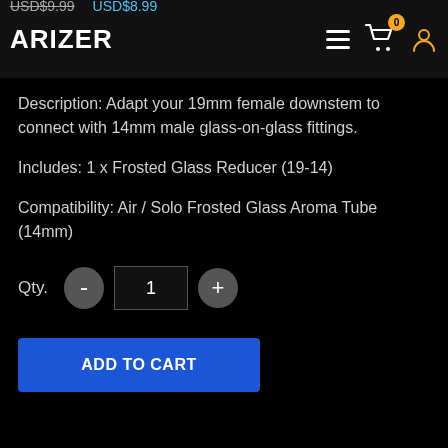USD$9.99  USD$8.99 | ARIZER logo | menu | cart (0) | user icon
Description: Adapt your 19mm female downstem to connect with 14mm male glass-on-glass fittings.
Includes: 1 x Frosted Glass Reducer (19-14)
Compatibility: Air / Solo Frosted Glass Aroma Tube (14mm)
Qty.  -  1  +
ADD TO CART